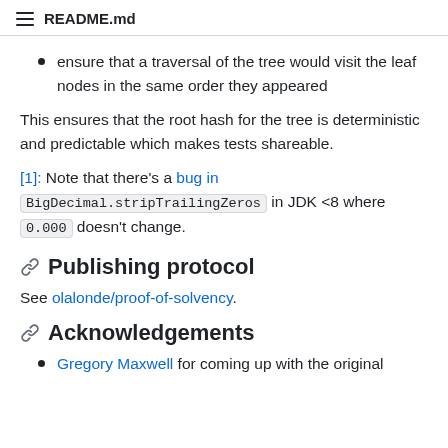README.md
ensure that a traversal of the tree would visit the leaf nodes in the same order they appeared
This ensures that the root hash for the tree is deterministic and predictable which makes tests shareable.
[1]: Note that there's a bug in BigDecimal.stripTrailingZeros in JDK <8 where 0.000 doesn't change.
Publishing protocol
See olalonde/proof-of-solvency.
Acknowledgements
Gregory Maxwell for coming up with the original